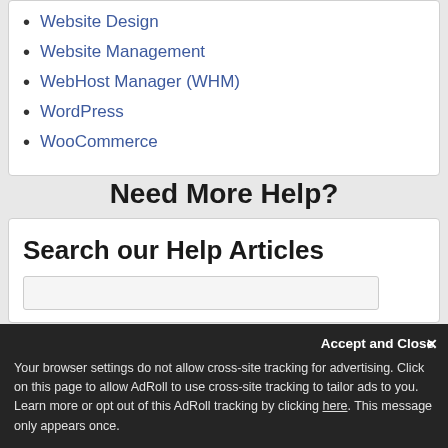Website Design
Website Management
WebHost Manager (WHM)
WordPress
WooCommerce
Need More Help?
Search our Help Articles
Accept and Close
Your browser settings do not allow cross-site tracking for advertising. Click on this page to allow AdRoll to use cross-site tracking to tailor ads to you. Learn more or opt out of this AdRoll tracking by clicking here. This message only appears once.